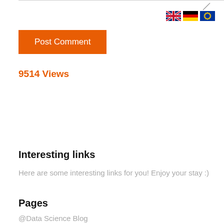[Figure (other): Top border bar with pencil/edit icon]
[Figure (other): Three flag icons: UK, Germany, EU]
Post Comment
9514 Views
Interesting links
Here are some interesting links for you! Enjoy your stay :)
Pages
@Data Science Blog